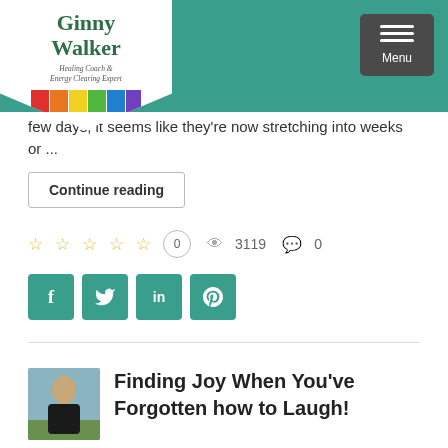[Figure (logo): Ginny Walker Healing Coach & Energy Clearing Expert logo with diamond shape and rainbow colors]
[Figure (other): Navigation menu button with three horizontal lines and Menu label on teal header bar]
few days, it seems like they're now stretching into weeks or ...
Continue reading
0  3119  0
[Figure (other): Social share buttons: Facebook (f), Twitter (bird), LinkedIn (in), Pinterest (p) in teal color]
Finding Joy When You've Forgotten how to Laugh!
[Figure (photo): Small thumbnail photo of a woman with blonde hair wearing black, outdoors]